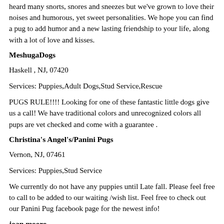heard many snorts, snores and sneezes but we've grown to love their noises and humorous, yet sweet personalities. We hope you can find a pug to add humor and a new lasting friendship to your life, along with a lot of love and kisses.
MeshugaDogs
Haskell , NJ, 07420
Services: Puppies,Adult Dogs,Stud Service,Rescue
PUGS RULE!!!! Looking for one of these fantastic little dogs give us a call! We have traditional colors and unrecognized colors all pups are vet checked and come with a guarantee .
Christina's Angel's/Panini Pugs
Vernon, NJ, 07461
Services: Puppies,Stud Service
We currently do not have any puppies until Late fall. Please feel free to call to be added to our waiting /wish list. Feel free to check out our Panini Pug facebook page for the newest info!
joan moore